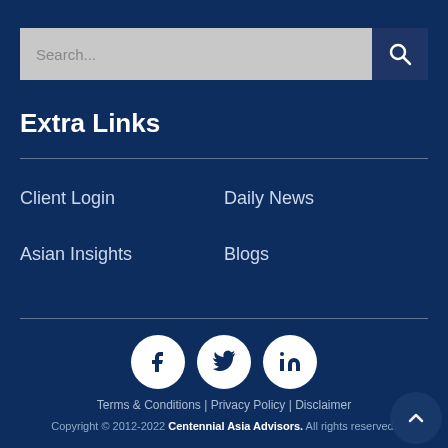[Figure (other): Search bar with input field and search button icon]
Extra Links
Client Login
Daily News
Asian Insights
Blogs
[Figure (other): Social media icons: Facebook, Twitter, LinkedIn]
Terms & Conditions | Privacy Policy | Disclaimer
Copyright © 2012-2022 Centennial Asia Advisors. All rights reserved.